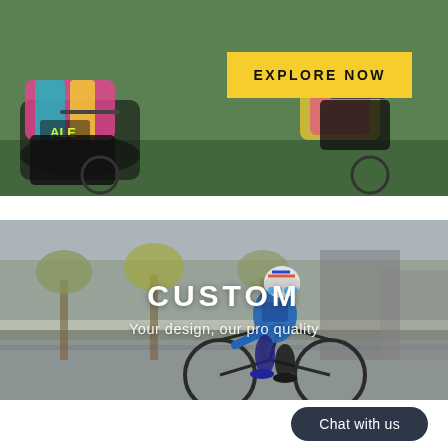[Figure (photo): Two cyclists in colorful cycling kits riding road bikes, cropped to show lower body and handlebars, green background]
EXPLORE NOW
[Figure (photo): Male cyclist in blue jersey and white helmet with mirrored blue sunglasses riding a black road bike on a street with trees in background]
CUSTOM
Your design, our pro quality
Chat with us